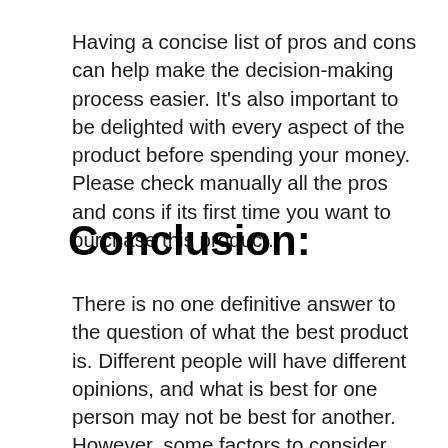Having a concise list of pros and cons can help make the decision-making process easier. It's also important to be delighted with every aspect of the product before spending your money. Please check manually all the pros and cons if its first time you want to purchase this product.
Conclusion:
There is no one definitive answer to the question of what the best product is. Different people will have different opinions, and what is best for one person may not be best for another. However, some factors to consider when buying best posh phone batteries include price, quality, and personal